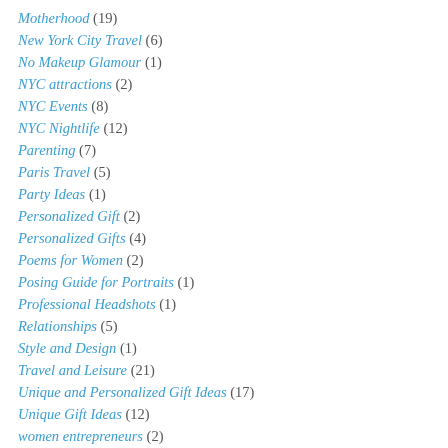Motherhood (19)
New York City Travel (6)
No Makeup Glamour (1)
NYC attractions (2)
NYC Events (8)
NYC Nightlife (12)
Parenting (7)
Paris Travel (5)
Party Ideas (1)
Personalized Gift (2)
Personalized Gifts (4)
Poems for Women (2)
Posing Guide for Portraits (1)
Professional Headshots (1)
Relationships (5)
Style and Design (1)
Travel and Leisure (21)
Unique and Personalized Gift Ideas (17)
Unique Gift Ideas (12)
women entrepreneurs (2)